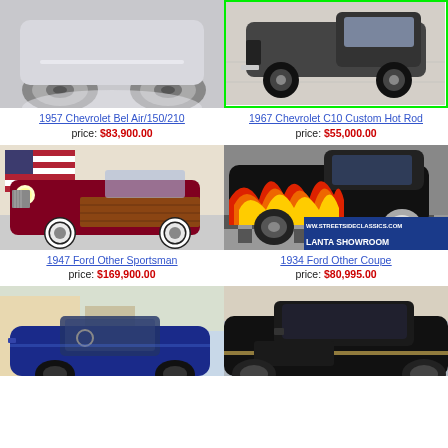[Figure (photo): 1957 Chevrolet Bel Air/150/210 - partial top view of classic car, grey/silver]
[Figure (photo): 1967 Chevrolet C10 Custom Hot Rod - front view with green border highlight]
1957 Chevrolet Bel Air/150/210
price: $83,900.00
1967 Chevrolet C10 Custom Hot Rod
price: $55,000.00
[Figure (photo): 1947 Ford Other Sportsman - dark red classic woodie wagon in showroom with American flag background]
[Figure (photo): 1934 Ford Other Coupe - black hot rod with flame paint job, Streetside Classics Atlanta Showroom]
1947 Ford Other Sportsman
price: $169,900.00
1934 Ford Other Coupe
price: $80,995.00
[Figure (photo): Blue convertible classic car, partial view from above]
[Figure (photo): Black classic convertible car, partial view]